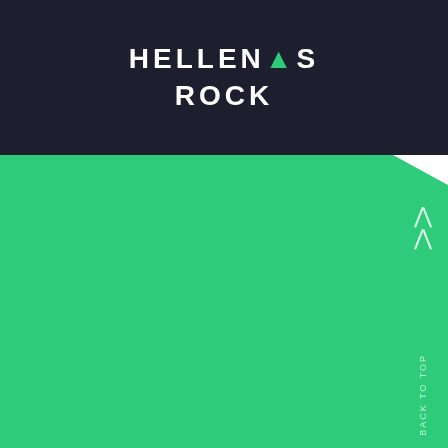HELLEN'S ROCK
[Figure (illustration): Green background section with back to top button and double chevron arrow on the right side]
BACK TO TOP